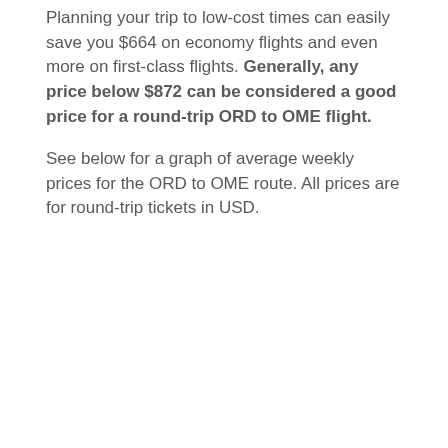Planning your trip to low-cost times can easily save you $664 on economy flights and even more on first-class flights. Generally, any price below $872 can be considered a good price for a round-trip ORD to OME flight.
See below for a graph of average weekly prices for the ORD to OME route. All prices are for round-trip tickets in USD.